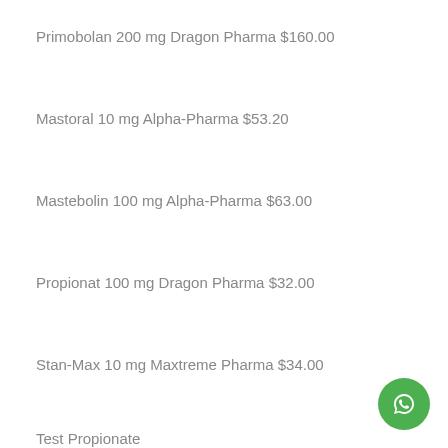Primobolan 200 mg Dragon Pharma $160.00
Mastoral 10 mg Alpha-Pharma $53.20
Mastebolin 100 mg Alpha-Pharma $63.00
Propionat 100 mg Dragon Pharma $32.00
Stan-Max 10 mg Maxtreme Pharma $34.00
Test Propionate
[Figure (illustration): Green circular WhatsApp chat button in bottom-right corner]